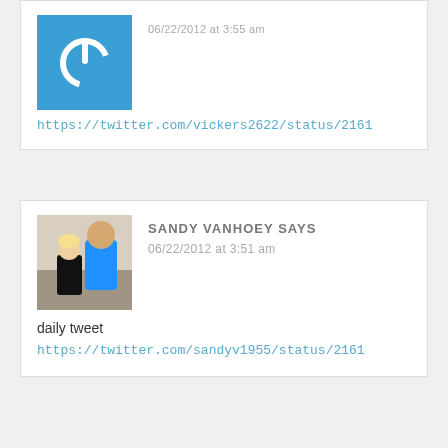[Figure (screenshot): Blue square avatar with white power button icon]
06/22/2012 at 3:55 am
https://twitter.com/vickers2622/status/2161
[Figure (photo): Photo of a man and a young girl]
SANDY VANHOEY SAYS
06/22/2012 at 3:51 am
daily tweet
https://twitter.com/sandyv1955/status/2161